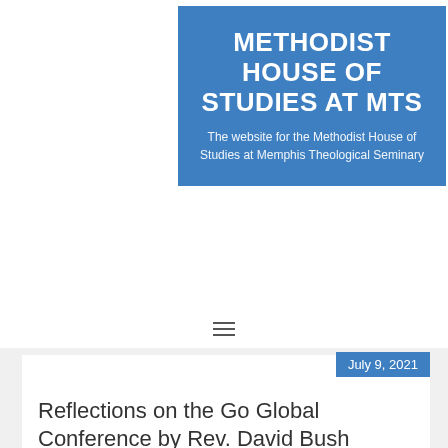METHODIST HOUSE OF STUDIES AT MTS
The website for the Methodist House of Studies at Memphis Theological Seminary
≡
July 9, 2021
Reflections on the Go Global Conference by Rev. David Bush (MDiv, '87; DMin, '98)